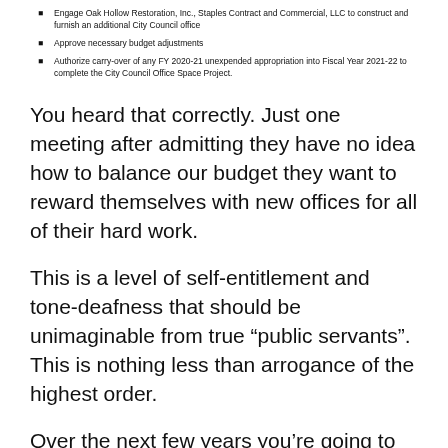Engage Oak Hollow Restoration, Inc., Staples Contract and Commercial, LLC to construct and furnish an additional City Council office
Approve necessary budget adjustments
Authorize carry-over of any FY 2020-21 unexpended appropriation into Fiscal Year 2021-22 to complete the City Council Office Space Project.
You heard that correctly. Just one meeting after admitting they have no idea how to balance our budget they want to reward themselves with new offices for all of their hard work.
This is a level of self-entitlement and tone-deafness that should be unimaginable from true “public servants”. This is nothing less than arrogance of the highest order.
Over the next few years you’re going to be asked to give up more in services, to pay more in fees and taxes and to take it on the chin because of our financial dire straights. Dire straights we were put